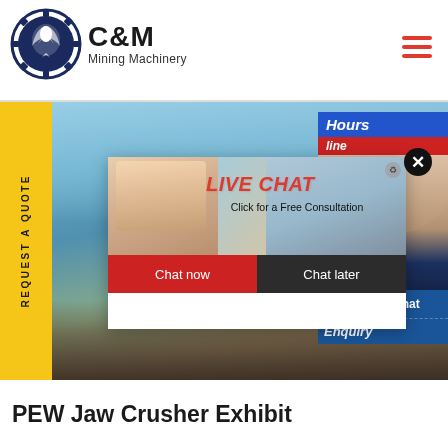[Figure (logo): C&M Mining Machinery company logo with eagle gear emblem]
[Figure (screenshot): Website screenshot showing mining machinery banner with live chat popup overlay and right-side chat widget]
PEW Jaw Crusher Exhibit